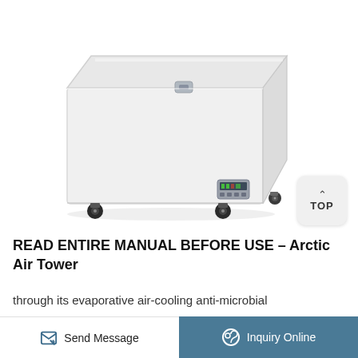[Figure (photo): White chest freezer with a flat top lid, locking latch, digital control panel on the front lower right, and four black caster wheels. The unit is photographed against a white background at a slight angle.]
READ ENTIRE MANUAL BEFORE USE – Arctic Air Tower
through its evaporative air-cooling anti-microbial
Send Message
Inquiry Online